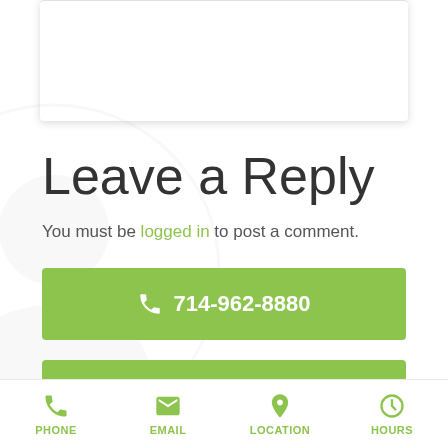Leave a Reply
You must be logged in to post a comment.
📞 714-962-8880
📅 Book Online
PHONE  EMAIL  LOCATION  HOURS